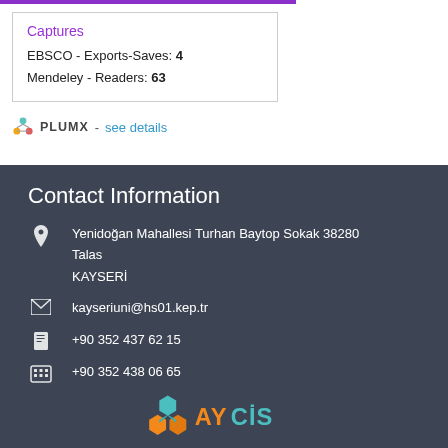Captures
EBSCO - Exports-Saves: 4
Mendeley - Readers: 63
PLUMX - see details
Contact Information
Yenidoğan Mahallesi Turhan Baytop Sokak 38280 Talas KAYSERİ
kayseriuni@hs01.kep.tr
+90 352 437 62 15
+90 352 438 06 65
[Figure (logo): AVCIS logo with hexagon shapes in teal and orange]